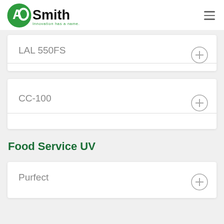AO Smith — Innovation has a name.
LAL 550FS
CC-100
Food Service UV
Purfect